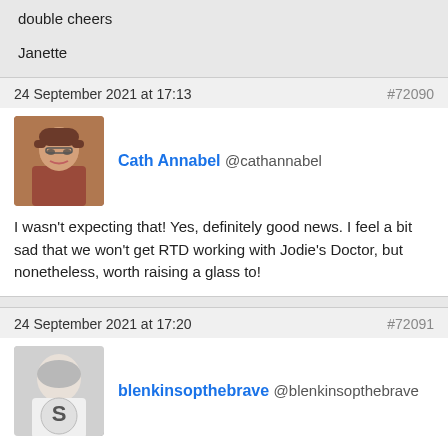double cheers

Janette
24 September 2021 at 17:13   #72090
Cath Annabel @cathannabel
I wasn't expecting that! Yes, definitely good news. I feel a bit sad that we won't get RTD working with Jodie's Doctor, but nonetheless, worth raising a glass to!
24 September 2021 at 17:20   #72091
blenkinsopthebrave @blenkinsopthebrave
Crikey! That is amazing news.